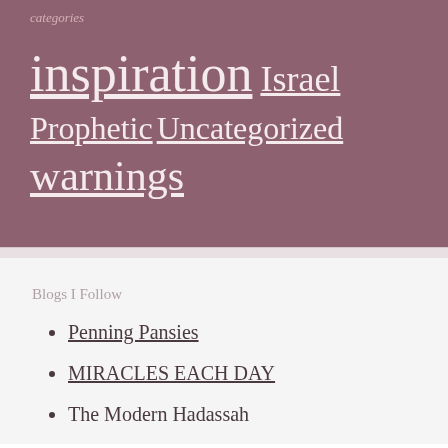categories
inspiration  Israel  Prophetic  Uncategorized  warnings
Blogs I Follow
Penning Pansies
MIRACLES EACH DAY
The Modern Hadassah